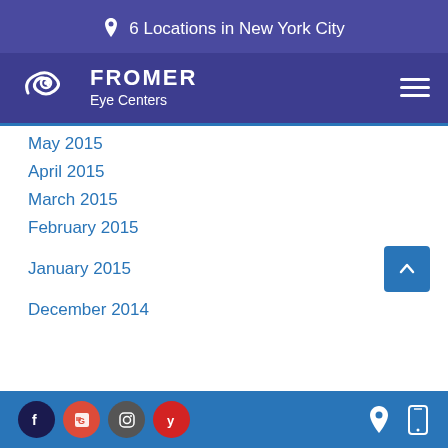6 Locations in New York City
[Figure (logo): Fromer Eye Centers logo with swirl eye icon]
May 2015
April 2015
March 2015
February 2015
January 2015
December 2014
[Figure (infographic): Footer bar with social media icons (Facebook, Google, Instagram, Yelp) and location/mobile icons]